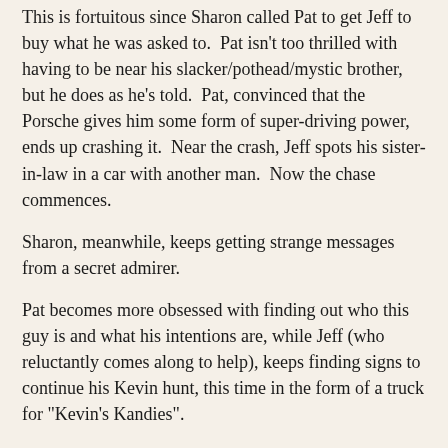This is fortuitous since Sharon called Pat to get Jeff to buy what he was asked to. Pat isn't too thrilled with having to be near his slacker/pothead/mystic brother, but he does as he's told. Pat, convinced that the Porsche gives him some form of super-driving power, ends up crashing it. Near the crash, Jeff spots his sister-in-law in a car with another man. Now the chase commences.
Sharon, meanwhile, keeps getting strange messages from a secret admirer.
Pat becomes more obsessed with finding out who this guy is and what his intentions are, while Jeff (who reluctantly comes along to help), keeps finding signs to continue his Kevin hunt, this time in the form of a truck for "Kevin's Kandies".
Curiosly enough (or is it?) said truck leads Jeff to where Pat is: a motel. The brothers find Linda with this mystery man (although there is nothing sexual going on). Linda, having finally reached her breaking point, tells Pat she wants a divorce and is leaving him.
Sharon eventually finds out who her secret admirer is (suffice it to say it involves her considering the alternatives, so to speak). A fortuitous after-hours call on...